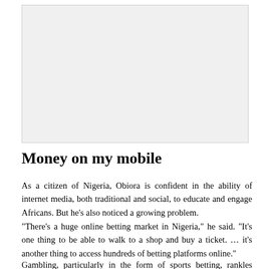[Figure (photo): A photograph or image placeholder (light gray box)]
Money on my mobile
As a citizen of Nigeria, Obiora is confident in the ability of internet media, both traditional and social, to educate and engage Africans. But he's also noticed a growing problem.
"There's a huge online betting market in Nigeria," he said. "It's one thing to be able to walk to a shop and buy a ticket. … it's another thing to access hundreds of betting platforms online."
Gambling, particularly in the form of sports betting, rankles Africa's more developed nations. Around 60 million Nigerians are said to gamble, if not daily, at...